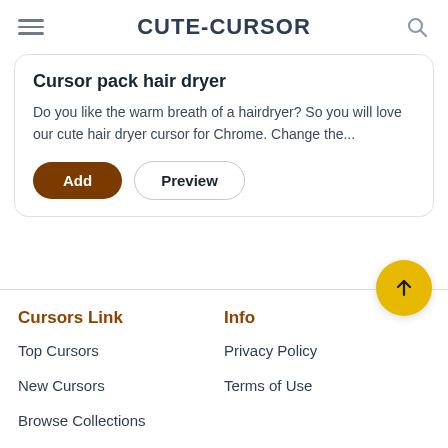CUTE-CURSOR
Cursor pack hair dryer
Do you like the warm breath of a hairdryer? So you will love our cute hair dryer cursor for Chrome. Change the...
Cursors Link
Info
Top Cursors
Privacy Policy
New Cursors
Terms of Use
Browse Collections